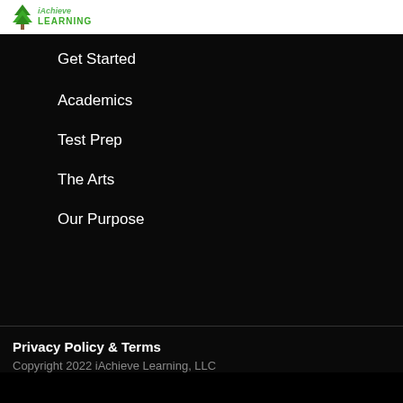[Figure (logo): iAchieve Learning logo with tree icon]
Get Started
Academics
Test Prep
The Arts
Our Purpose
Privacy Policy & Terms
Copyright 2022 iAchieve Learning, LLC